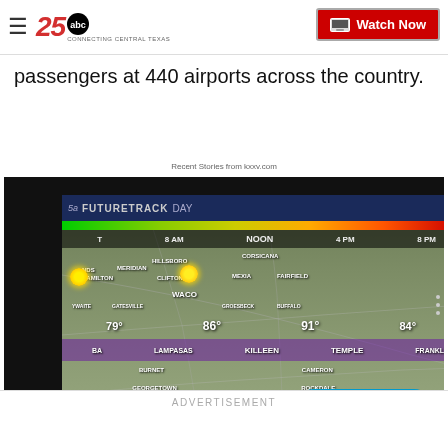KXXV 25 ABC News — Connecting Central Texas | Watch Now
passengers at 440 airports across the country.
Recent Stories from kxxv.com
[Figure (screenshot): Weather forecast video player showing FutureTrack Day weather map of Central Texas with temperatures (79°, 86°, 91°, 84°, 78°) and city labels (Hamilton, Clifton, Waco, Temple, Killeen, etc.), a 'WATCH MORE' button overlay, and a CLOSE button.]
ADVERTISEMENT